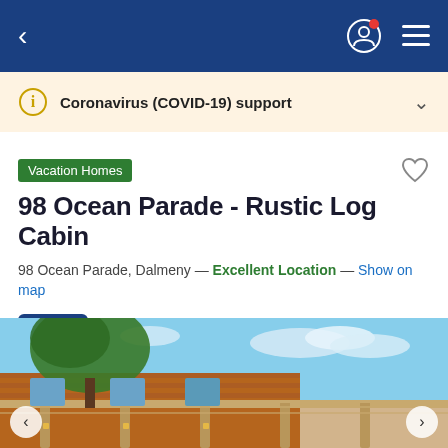< (back) | (profile icon) (menu icon)
Coronavirus (COVID-19) support
Vacation Homes
98 Ocean Parade - Rustic Log Cabin
98 Ocean Parade, Dalmeny — Excellent Location — Show on map
7.0  Good · 2 reviews
[Figure (photo): Exterior photo of a rustic log cabin/building with wooden pergola structure, brick walls, and a tree visible against a blue sky with clouds]